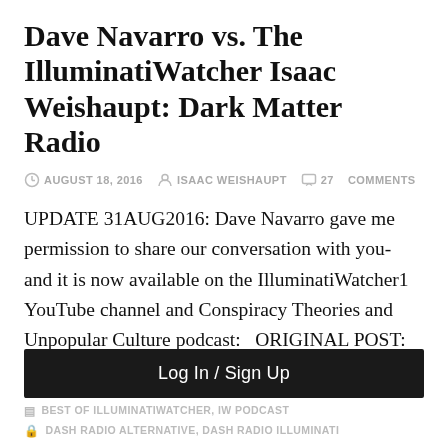Dave Navarro vs. The IlluminatiWatcher Isaac Weishaupt: Dark Matter Radio
AUGUST 18, 2016   ISAAC WEISHAUPT   27 COMMENTS
UPDATE 31AUG2016: Dave Navarro gave me permission to share our conversation with you- and it is now available on the IlluminatiWatcher1 YouTube channel and Conspiracy Theories and Unpopular Culture podcast:   ORIGINAL POST: I've got some exciting news to share with you– I've been invited to appear on Dave Navarro's Dark Matter Radio show!   [...]
Log In / Sign Up
BEST OF ILLUMINATIWATCHER, IW PODCAST
DASH RADIO ALTERNATIVE, DASH RADIO ILLUMINATI